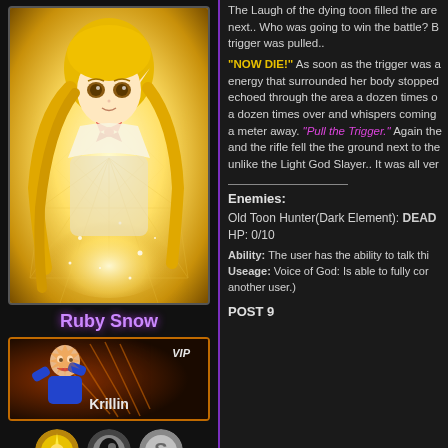[Figure (illustration): Anime character card showing a blonde elf-like girl with a red bow, golden glowing background with geometric patterns. Character card with orange border.]
Ruby Snow
[Figure (illustration): VIP card showing Krillin character from Dragon Ball, with orange/red fighting pose illustration. VIP label in top right corner.]
[Figure (illustration): Three circular icons: gold sun/star icon, dark moon/eye icon, silver S icon]
The Laugh of the dying toon filled the are next.. Who was going to win the battle? B trigger was pulled..
"NOW DIE!" As soon as the trigger was a energy that surrounded her body stopped echoed through the area a dozen times o a dozen times over and whispers coming a meter away. "Pull the Trigger." Again the and the rifle fell the the ground next to the unlike the Light God Slayer.. It was all ver
Enemies:
Old Toon Hunter(Dark Element): DEAD
HP: 0/10
Ability: The user has the ability to talk thi Useage: Voice of God: Is able to fully cor another user.)
POST 9